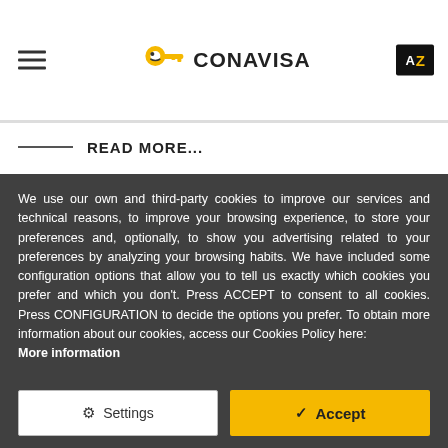[Figure (logo): CONAVISA logo with key icon and hamburger menu and AZ language switcher in header]
READ MORE...
We use our own and third-party cookies to improve our services and technical reasons, to improve your browsing experience, to store your preferences and, optionally, to show you advertising related to your preferences by analyzing your browsing habits. We have included some configuration options that allow you to tell us exactly which cookies you prefer and which you don't. Press ACCEPT to consent to all cookies. Press CONFIGURATION to decide the options you prefer. To obtain more information about our cookies, access our Cookies Policy here: More information
Settings
Accept